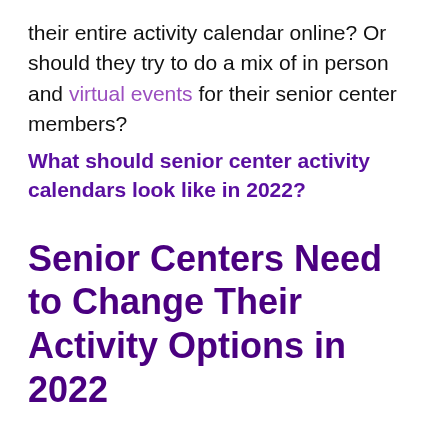their entire activity calendar online? Or should they try to do a mix of in person and virtual events for their senior center members?
What should senior center activity calendars look like in 2022?
Senior Centers Need to Change Their Activity Options in 2022
There is no doubt that seniors and older